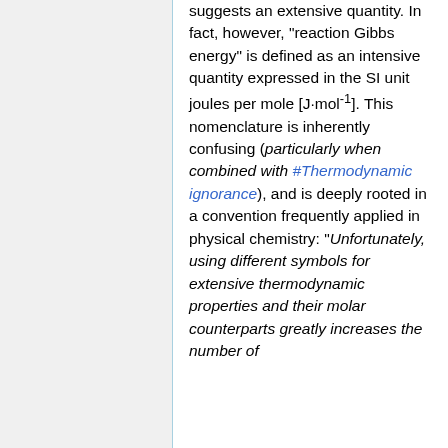suggests an extensive quantity. In fact, however, "reaction Gibbs energy" is defined as an intensive quantity expressed in the SI unit joules per mole [J·mol⁻¹]. This nomenclature is inherently confusing (particularly when combined with #Thermodynamic ignorance), and is deeply rooted in a convention frequently applied in physical chemistry: "Unfortunately, using different symbols for extensive thermodynamic properties and their molar counterparts greatly increases the number of